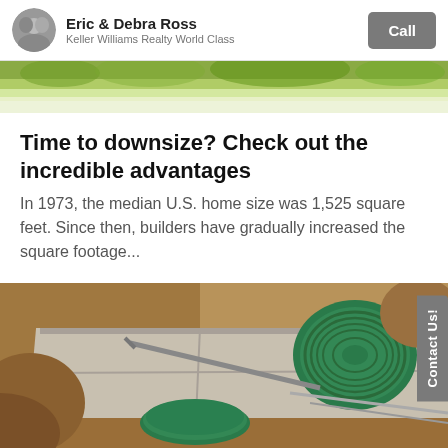Eric & Debra Ross — Keller Williams Realty World Class — Call
[Figure (photo): Green hedge/garden strip hero image at top of article]
Time to downsize? Check out the incredible advantages
In 1973, the median U.S. home size was 1,525 square feet. Since then, builders have gradually increased the square footage...
[Figure (photo): Outdoor photo showing septic tank lids (green circular covers) being installed in dirt/excavation site]